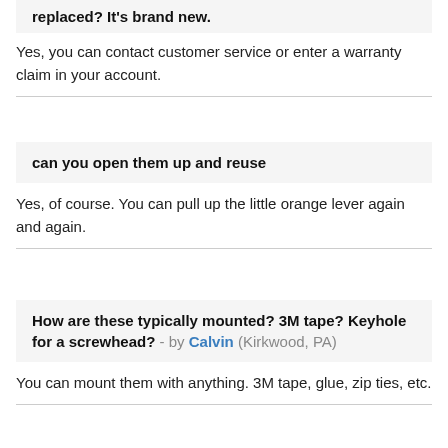replaced? It's brand new.
Yes, you can contact customer service or enter a warranty claim in your account.
can you open them up and reuse
Yes, of course. You can pull up the little orange lever again and again.
How are these typically mounted? 3M tape? Keyhole for a screwhead? - by Calvin (Kirkwood, PA)
You can mount them with anything. 3M tape, glue, zip ties, etc.